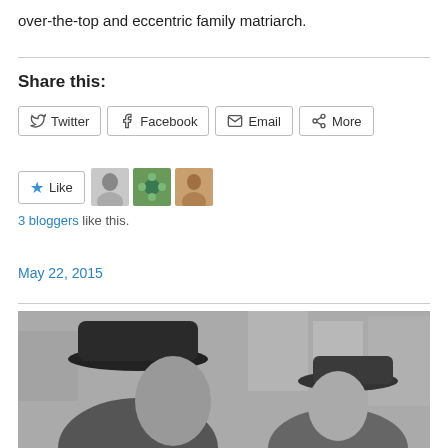over-the-top and eccentric family matriarch.
Share this:
Twitter  Facebook  Email  More
[Figure (other): Like button with star icon and three blogger avatars]
3 bloggers like this.
May 22, 2015
[Figure (photo): Black and white photo of a man wearing a dark fedora hat in profile view and a woman wearing a dark hat, outdoor urban setting with blurred buildings in background]